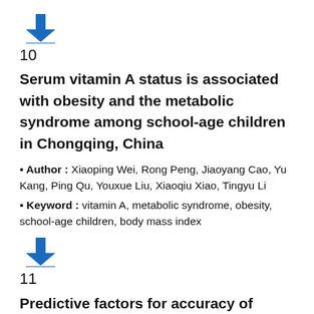[Figure (other): Blue download arrow icon with underline]
10
Serum vitamin A status is associated with obesity and the metabolic syndrome among school-age children in Chongqing, China
Author : Xiaoping Wei, Rong Peng, Jiaoyang Cao, Yu Kang, Ping Qu, Youxue Liu, Xiaoqiu Xiao, Tingyu Li
Keyword : vitamin A, metabolic syndrome, obesity, school-age children, body mass index
[Figure (other): Blue download arrow icon with underline]
11
Predictive factors for accuracy of